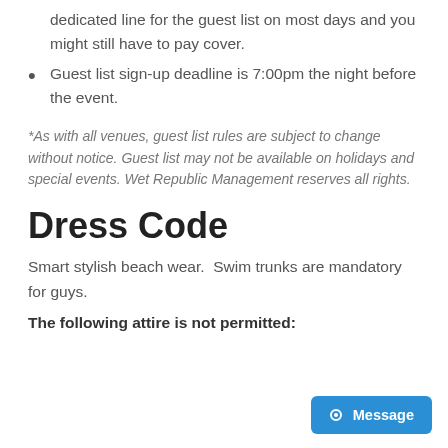dedicated line for the guest list on most days and you might still have to pay cover.
Guest list sign-up deadline is 7:00pm the night before the event.
*As with all venues, guest list rules are subject to change without notice. Guest list may not be available on holidays and special events. Wet Republic Management reserves all rights.
Dress Code
Smart stylish beach wear.  Swim trunks are mandatory for guys.
The following attire is not permitted: